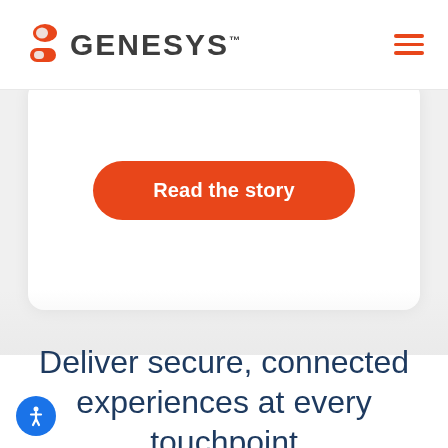[Figure (logo): Genesys logo with orange icon (two stacked pill/circle shapes) and dark gray GENESYS text with TM mark, plus hamburger menu icon in orange on the right]
[Figure (other): White card with rounded corners containing an orange rounded-rectangle button labeled 'Read the story' in white bold text, on a light gray background]
Deliver secure, connected experiences at every touchpoint
[Figure (other): Blue circular accessibility icon button in bottom-left corner with white person/wheelchair symbol]